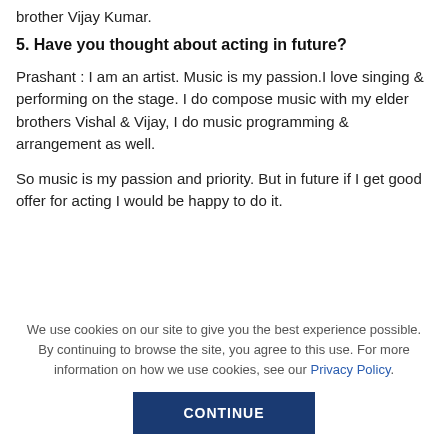brother Vijay Kumar.
5. Have you thought about acting in future?
Prashant : I am an artist. Music is my passion.I love singing & performing on the stage. I do compose music with my elder brothers Vishal & Vijay, I do music programming & arrangement as well.
So music is my passion and priority. But in future if I get good offer for acting I would be happy to do it.
We use cookies on our site to give you the best experience possible. By continuing to browse the site, you agree to this use. For more information on how we use cookies, see our Privacy Policy.
CONTINUE